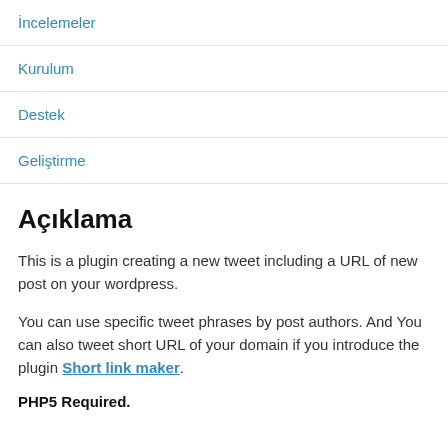İncelemeler
Kurulum
Destek
Geliştirme
Açıklama
This is a plugin creating a new tweet including a URL of new post on your wordpress.
You can use specific tweet phrases by post authors. And You can also tweet short URL of your domain if you introduce the plugin Short link maker.
PHP5 Required.